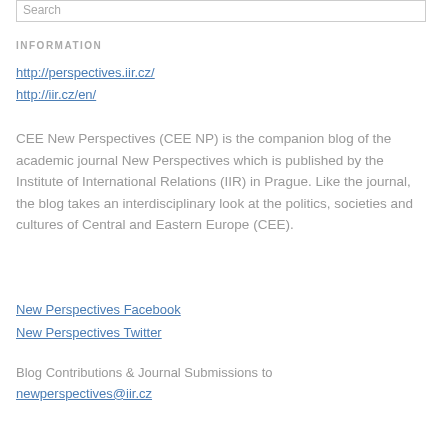Search
INFORMATION
http://perspectives.iir.cz/
http://iir.cz/en/
CEE New Perspectives (CEE NP) is the companion blog of the academic journal New Perspectives which is published by the Institute of International Relations (IIR) in Prague. Like the journal, the blog takes an interdisciplinary look at the politics, societies and cultures of Central and Eastern Europe (CEE).
New Perspectives Facebook
New Perspectives Twitter
Blog Contributions & Journal Submissions to newperspectives@iir.cz